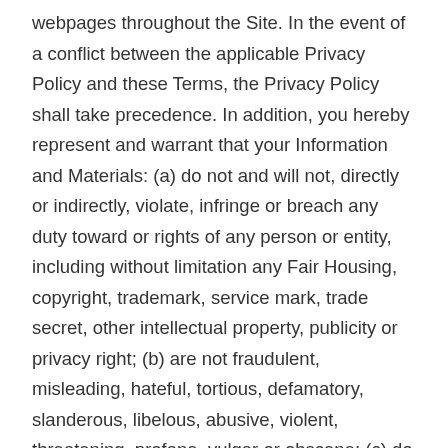webpages throughout the Site. In the event of a conflict between the applicable Privacy Policy and these Terms, the Privacy Policy shall take precedence. In addition, you hereby represent and warrant that your Information and Materials: (a) do not and will not, directly or indirectly, violate, infringe or breach any duty toward or rights of any person or entity, including without limitation any Fair Housing, copyright, trademark, service mark, trade secret, other intellectual property, publicity or privacy right; (b) are not fraudulent, misleading, hateful, tortious, defamatory, slanderous, libelous, abusive, violent, threatening, profane, vulgar or obscene; (c) do not harass others, promote bigotry, racism, hatred or harm against any individual or group, promote discrimination based on race, sex, religion, nationality, sexual orientation or age, or otherwise interfere with